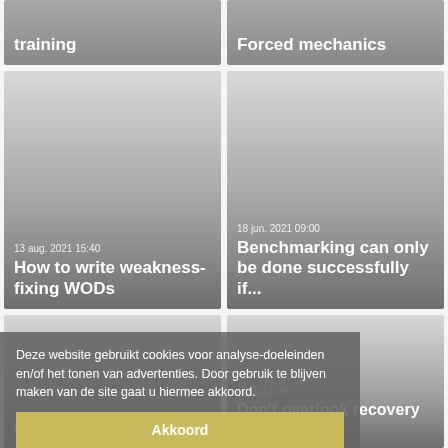[Figure (screenshot): Card with title 'training' on dark gray gradient background]
[Figure (screenshot): Card with title 'Forced mechanics' on dark gray gradient background]
[Figure (screenshot): Card dated 13 aug. 2021 15:40 with title 'How to write weakness-fixing WODs']
[Figure (screenshot): Card dated 18 jun. 2021 09:00 with title 'Benchmarking can only be done successfully if...']
[Figure (screenshot): Card with title 'the problem...you are' partially visible]
[Figure (screenshot): Card dated 2020 13:39 with title "Don't overlook recovery here's why" partially visible]
Deze website gebruikt cookies voor analyse-doeleinden en/of het tonen van advertenties. Door gebruik te blijven maken van de site gaat u hiermee akkoord.
Akkoord